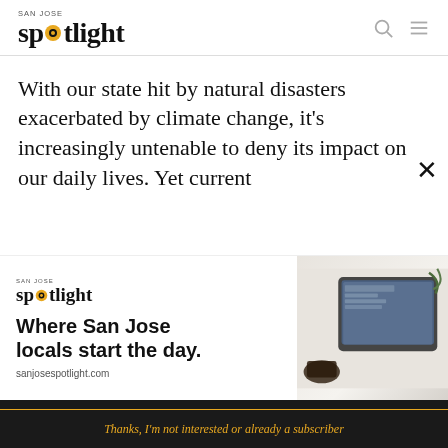SAN JOSE spotlight
With our state hit by natural disasters exacerbated by climate change, it's increasingly untenable to deny its impact on our daily lives. Yet current
[Figure (advertisement): San Jose Spotlight advertisement banner with logo, tagline 'Where San Jose locals start the day.' and tablet/phone imagery. URL: sanjosespotlight.com]
EMAIL ADDRESS
SUBSCRIBE
Thanks, I'm not interested or already a subscriber